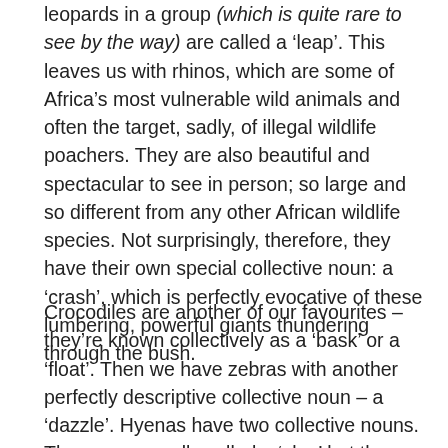leopards in a group (which is quite rare to see by the way) are called a ‘leap’. This leaves us with rhinos, which are some of Africa’s most vulnerable wild animals and often the target, sadly, of illegal wildlife poachers. They are also beautiful and spectacular to see in person; so large and so different from any other African wildlife species. Not surprisingly, therefore, they have their own special collective noun: a ‘crash’, which is perfectly evocative of these lumbering, powerful giants thundering through the bush.
Crocodiles are another of our favourites – they’re known collectively as a ‘bask’ or a ‘float’. Then we have zebras with another perfectly descriptive collective noun – a ‘dazzle’. Hyenas have two collective nouns. They are normally called a ‘clan’ but the alternative term, a ‘cackle’ perfectly captures the sound and spirit of these animals. A group of